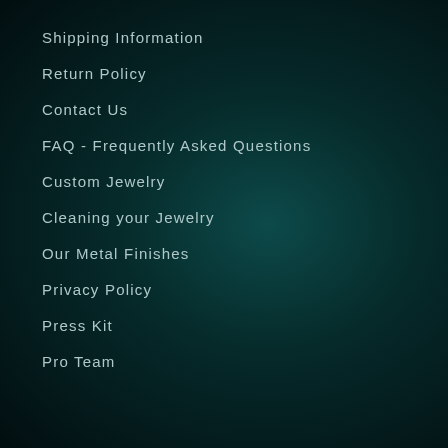Shipping Information
Return Policy
Contact Us
FAQ - Frequently Asked Questions
Custom Jewelry
Cleaning your Jewelry
Our Metal Finishes
Privacy Policy
Press Kit
Pro Team